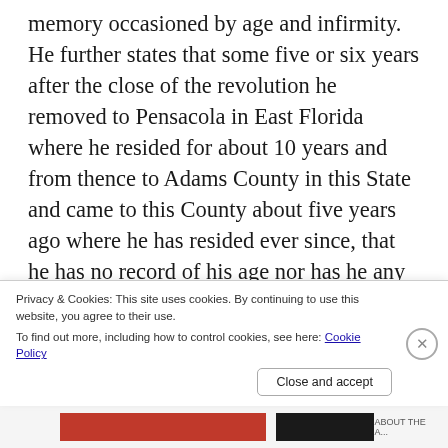memory occasioned by age and infirmity. He further states that some five or six years after the close of the revolution he removed to Pensacola in East Florida where he resided for about 10 years and from thence to Adams County in this State and came to this County about five years ago where he has resided ever since, that he has no record of his age nor has he any documentary evidence by which he can prove the length of his revolutionary services nor does he know of any living witness who can
Privacy & Cookies: This site uses cookies. By continuing to use this website, you agree to their use.
To find out more, including how to control cookies, see here: Cookie Policy